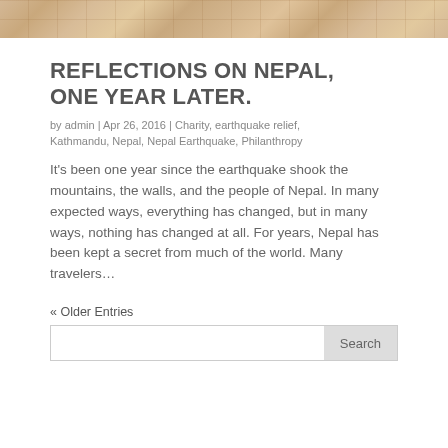[Figure (photo): Stone or tile floor texture in warm tan/beige tones, cropped banner at top of page]
REFLECTIONS ON NEPAL, ONE YEAR LATER.
by admin | Apr 26, 2016 | Charity, earthquake relief, Kathmandu, Nepal, Nepal Earthquake, Philanthropy
It's been one year since the earthquake shook the mountains, the walls, and the people of Nepal. In many expected ways, everything has changed, but in many ways, nothing has changed at all. For years, Nepal has been kept a secret from much of the world. Many travelers…
« Older Entries